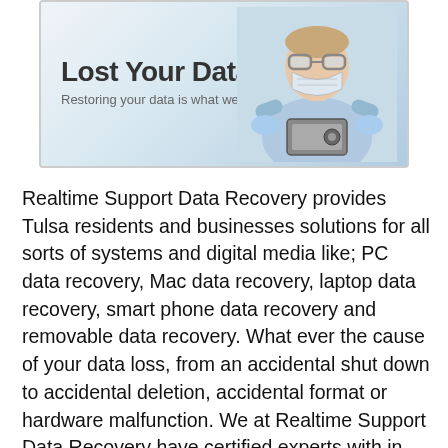[Figure (illustration): Banner image showing 'Lost Your Data? Restoring your data is what we do!' with a person in medical scrubs, gloves, and mask examining a hard drive]
Realtime Support Data Recovery provides Tulsa residents and businesses solutions for all sorts of systems and digital media like; PC data recovery, Mac data recovery, laptop data recovery, smart phone data recovery and removable data recovery. What ever the cause of your data loss, from an accidental shut down to accidental deletion, accidental format or hardware malfunction. We at Realtime Support Data Recovery have certified experts with in depth knowledge of all the major hard drive brands like; Western Digital, Seagate, Fujitsu, Samsung, Maxtor, Hitachi, IBM, Toshiba and most other brands. We can handle various reasons of data loss for Tulsa residents and businesses, like mechanical error, water or heat damage